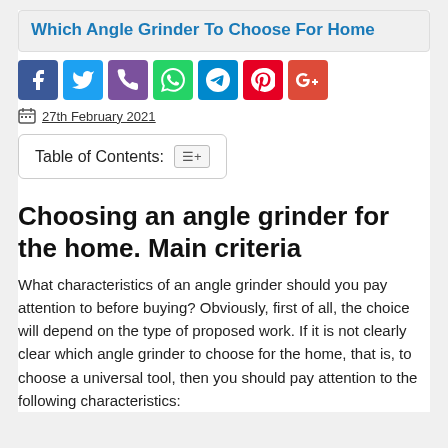Which Angle Grinder To Choose For Home
[Figure (infographic): Social sharing icons row: Facebook (blue), Twitter (light blue), Phone (purple), WhatsApp (green), Telegram (blue), Pinterest (red), Google+ (red-orange)]
27th February 2021
Table of Contents:
Choosing an angle grinder for the home. Main criteria
What characteristics of an angle grinder should you pay attention to before buying? Obviously, first of all, the choice will depend on the type of proposed work. If it is not clearly clear which angle grinder to choose for the home, that is, to choose a universal tool, then you should pay attention to the following characteristics: